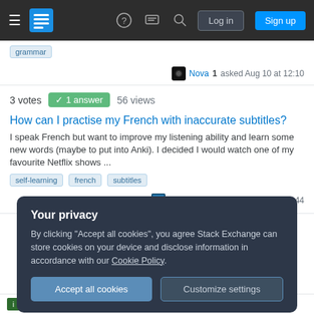Stack Exchange navigation bar with hamburger menu, logo, help, chat, search icons, Log in and Sign up buttons
grammar (tag)
Nova 1 asked Aug 10 at 12:10
3 votes  1 answer  56 views
How can I practise my French with inaccurate subtitles?
I speak French but want to improve my listening ability and learn some new words (maybe to put into Anki). I decided I would watch one of my favourite Netflix shows ...
self-learning
french
subtitles
mreyeball 33 asked Jun 26 at 11:44
Your privacy
By clicking "Accept all cookies", you agree Stack Exchange can store cookies on your device and disclose information in accordance with our Cookie Policy.
Accept all cookies
Customize settings
when squared equals a negative 121 asked May 29 at 3:56